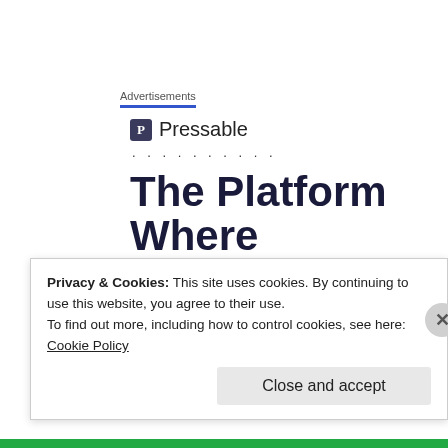Advertisements
[Figure (logo): Pressable logo with blue icon and text, followed by a dotted line and large headline 'The Platform Where WordPress Works Best']
What the Democrats pushing for fewer beds
Privacy & Cookies: This site uses cookies. By continuing to use this website, you agree to their use.
To find out more, including how to control cookies, see here: Cookie Policy
Close and accept